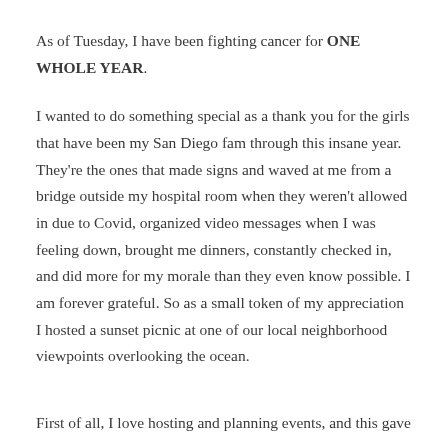As of Tuesday, I have been fighting cancer for ONE WHOLE YEAR.
I wanted to do something special as a thank you for the girls that have been my San Diego fam through this insane year.  They're the ones that made signs and waved at me from a bridge outside my hospital room when they weren't allowed in due to Covid, organized video messages when I was feeling down, brought me dinners, constantly checked in, and did more for my morale than they even know possible. I am forever grateful. So as a small token of my appreciation I hosted a sunset picnic at one of our local neighborhood viewpoints overlooking the ocean.
First of all, I love hosting and planning events, and this gave